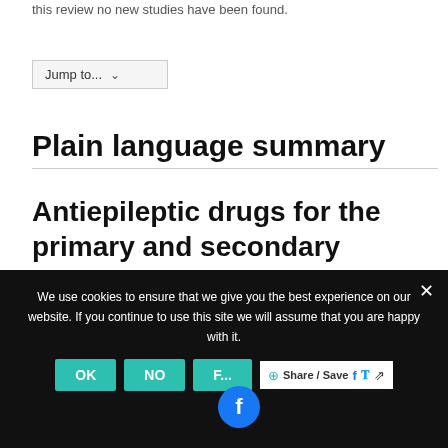this review no new studies have been found.
Jump to...
Plain language summary
Antiepileptic drugs for the primary and secondary prevention of seizures after intracranial venous thrombosis (ICVT)
Review question
We use cookies to ensure that we give you the best experience on our website. If you continue to use this site we will assume that you are happy with it.
OK  NO  F...  Share / Save